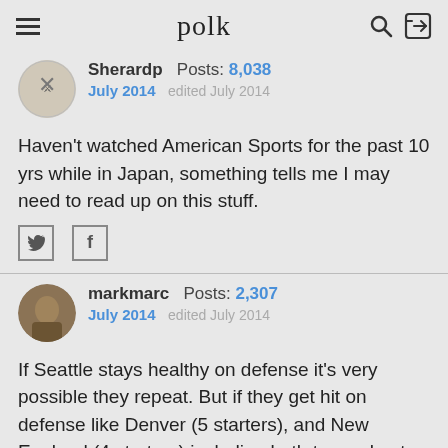polk
Sherardp  Posts: 8,038  July 2014  edited July 2014
Haven't watched American Sports for the past 10 yrs while in Japan, something tells me I may need to read up on this stuff.
markmarc  Posts: 2,307  July 2014  edited July 2014
If Seattle stays healthy on defense it's very possible they repeat. But if they get hit on defense like Denver (5 starters), and New England (4 starters) including both teams best defensive player, then no way. Can you imagine Seahawks repeating without their best defensive player Sherman? Highly doubtful.